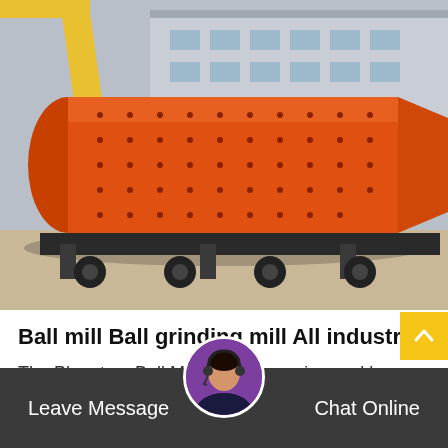[Figure (photo): Large orange cylindrical ball mill / ball grinding mill on a transport vehicle in an industrial yard, with a yellow crane arm and factory building visible in the background.]
Ball mill Ball grinding mill All industrial
The Planetary Ball Mill PM 200, engineered by Retsch, is a milling device best suited for mixing
Leave Message  |  Chat Online